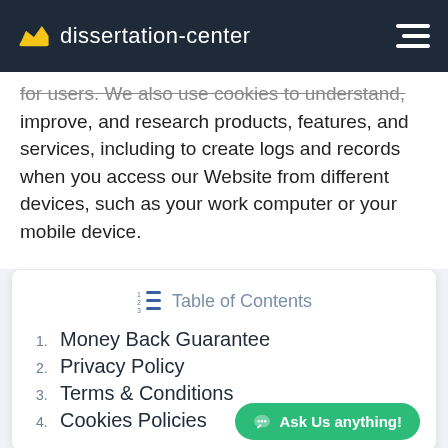dissertation-center
for users. We also use cookies to understand, improve, and research products, features, and services, including to create logs and records when you access our Website from different devices, such as your work computer or your mobile device.
Table of Contents
1. Money Back Guarantee
2. Privacy Policy
3. Terms & Conditions
4. Cookies Policies